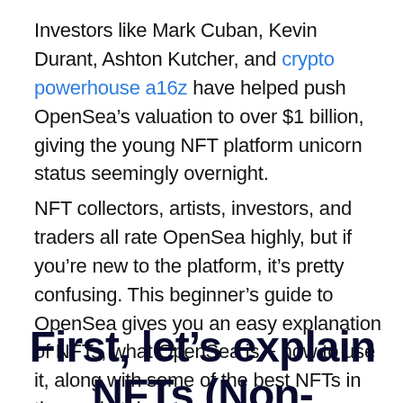Investors like Mark Cuban, Kevin Durant, Ashton Kutcher, and crypto powerhouse a16z have helped push OpenSea’s valuation to over $1 billion, giving the young NFT platform unicorn status seemingly overnight.
NFT collectors, artists, investors, and traders all rate OpenSea highly, but if you’re new to the platform, it’s pretty confusing. This beginner’s guide to OpenSea gives you an easy explanation of NFTs, what OpenSea is + how to use it, along with some of the best NFTs in the marketplace.
First, let’s explain NFTs (Non-Fungible